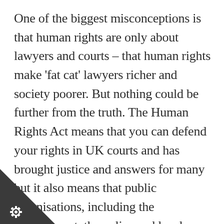One of the biggest misconceptions is that human rights are only about lawyers and courts – that human rights make 'fat cat' lawyers richer and society poorer. But nothing could be further from the truth. The Human Rights Act means that you can defend your rights in UK courts and has brought justice and answers for many but it also means that public organisations, including the Government, the police and local councils, must treat everyone equally, with fairness, dignity and respect.  The man Rights Act has helped thousands of
[Figure (illustration): Dark grey triangle in bottom-left corner with a white gear/cog icon]